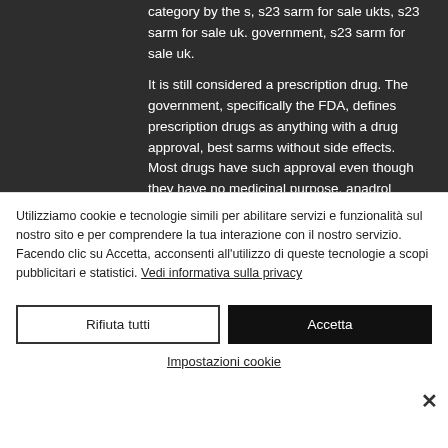category by the s, s23 sarm for sale ukts, s23 sarm for sale uk. government, s23 sarm for sale uk.
It is still considered a prescription drug. The government, specifically the FDA, defines prescription drugs as anything with a drug approval, best sarms without side effects. Most drugs have such approval even though they have no medicinal purpose, anadrol
Utilizziamo cookie e tecnologie simili per abilitare servizi e funzionalità sul nostro sito e per comprendere la tua interazione con il nostro servizio.
Facendo clic su Accetta, acconsenti all'utilizzo di queste tecnologie a scopi pubblicitari e statistici. Vedi informativa sulla privacy
Rifiuta tutti
Accetta
Impostazioni cookie